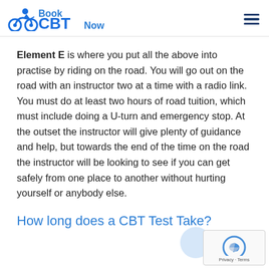Book CBT Now
Element E is where you put all the above into practise by riding on the road. You will go out on the road with an instructor two at a time with a radio link. You must do at least two hours of road tuition, which must include doing a U-turn and emergency stop. At the outset the instructor will give plenty of guidance and help, but towards the end of the time on the road the instructor will be looking to see if you can get safely from one place to another without hurting yourself or anybody else.
How long does a CBT Test Take?